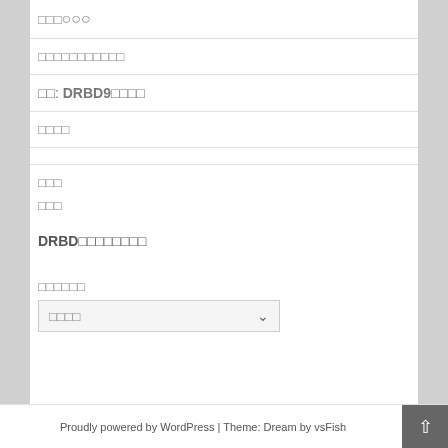□□□□□□□□□□□
□□: DRBD9□□□□
□□□□
□□□
□□□
DRBD□□□□□□□□
□□□□□□
□□□□
Proudly powered by WordPress | Theme: Dream by vsFish